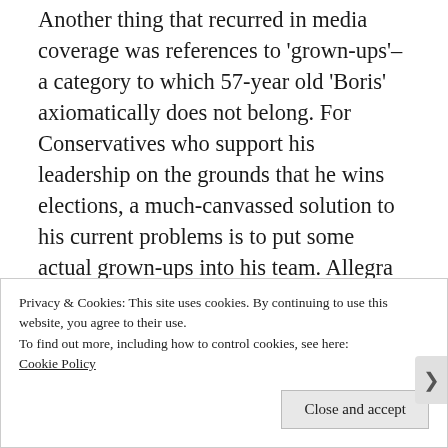Another thing that recurred in media coverage was references to 'grown-ups'–a category to which 57-year old 'Boris' axiomatically does not belong. For Conservatives who support his leadership on the grounds that he wins elections, a much-canvassed solution to his current problems is to put some actual grown-ups into his team. Allegra Stratton, the spokesperson who resigned this week after a recording was leaked of her making joking references to the Downing Street Christmas
Privacy & Cookies: This site uses cookies. By continuing to use this website, you agree to their use.
To find out more, including how to control cookies, see here: Cookie Policy